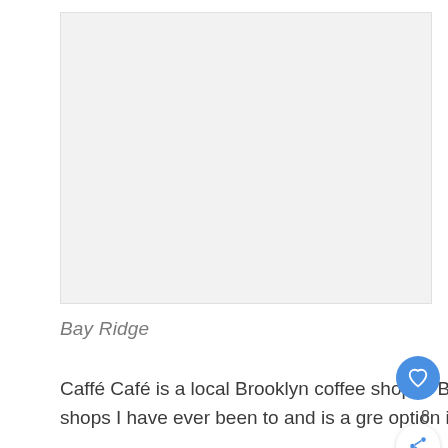[Figure (photo): Light gray placeholder image area representing a photo of Caffé Café in Bay Ridge, Brooklyn]
Bay Ridge
Caffé Café is a local Brooklyn coffee shop in Bay Ridge and also happens to be one of the coziest shops I have ever been to and is a great option if you're looking for the perfect late